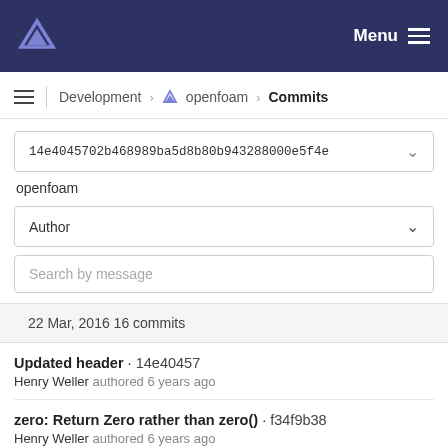Menu
Development › openfoam › Commits
14e4045702b468989ba5d8b80b943288000e5f4e
openfoam
Author
Search by message
22 Mar, 2016 16 commits
Updated header · 14e40457
Henry Weller authored 6 years ago
zero: Return Zero rather than zero() · f34f9b38
Henry Weller authored 6 years ago